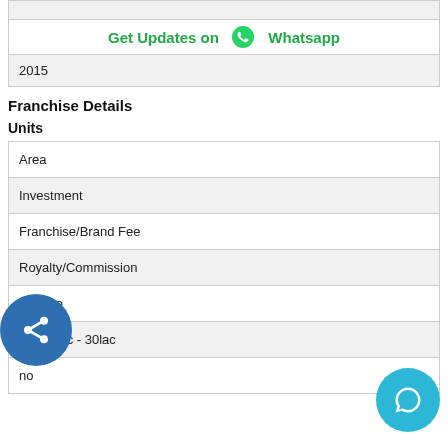2015
[Figure (infographic): Get Updates on Whatsapp banner with WhatsApp icon]
Franchise Details
Units
| Area |
| Investment |
| Franchise/Brand Fee |
| Royalty/Commission |
| re Wise |
| Rs. 20lac - 30lac |
| no |